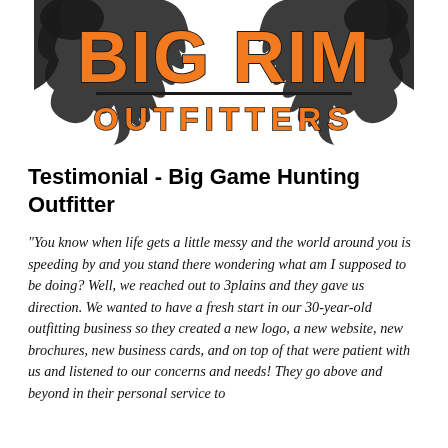[Figure (logo): Big Rim Outfitters logo: bold orange text 'BIG RIM' on top with 'OUTFITTERS' below in orange block letters, surrounded by black silhouette of animal antlers/horns and foliage on a white background.]
Testimonial - Big Game Hunting Outfitter
"You know when life gets a little messy and the world around you is speeding by and you stand there wondering what am I supposed to be doing? Well, we reached out to 3plains and they gave us direction. We wanted to have a fresh start in our 30-year-old outfitting business so they created a new logo, a new website, new brochures, new business cards, and on top of that were patient with us and listened to our concerns and needs! They go above and beyond in their personal service to